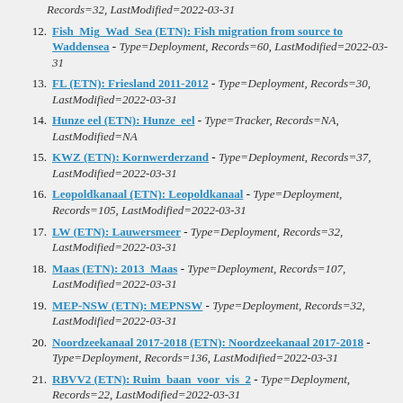Records=32, LastModified=2022-03-31
12. Fish_Mig_Wad_Sea (ETN): Fish migration from source to Waddensea - Type=Deployment, Records=60, LastModified=2022-03-31
13. FL (ETN): Friesland 2011-2012 - Type=Deployment, Records=30, LastModified=2022-03-31
14. Hunze eel (ETN): Hunze_eel - Type=Tracker, Records=NA, LastModified=NA
15. KWZ (ETN): Kornwerderzand - Type=Deployment, Records=37, LastModified=2022-03-31
16. Leopoldkanaal (ETN): Leopoldkanaal - Type=Deployment, Records=105, LastModified=2022-03-31
17. LW (ETN): Lauwersmeer - Type=Deployment, Records=32, LastModified=2022-03-31
18. Maas (ETN): 2013_Maas - Type=Deployment, Records=107, LastModified=2022-03-31
19. MEP-NSW (ETN): MEPNSW - Type=Deployment, Records=32, LastModified=2022-03-31
20. Noordzeekanaal 2017-2018 (ETN): Noordzeekanaal 2017-2018 - Type=Deployment, Records=136, LastModified=2022-03-31
21. RBVV2 (ETN): Ruim_baan_voor_vis_2 - Type=Deployment, Records=22, LastModified=2022-03-31